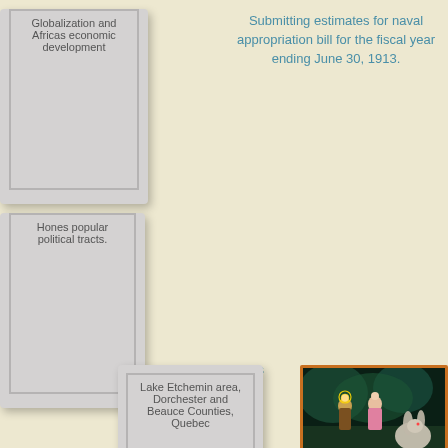Submitting estimates for naval appropriation bill for the fiscal year ending June 30, 1913.
[Figure (illustration): Book cover placeholder - Globalization and Africas economic development]
Globalization and Africas economic development
[Figure (illustration): Book cover placeholder - Hones popular political tracts.]
Hones popular political tracts.
[Figure (illustration): Book cover placeholder - Lake Etchemin area, Dorchester and Beauce Counties, Quebec]
Lake Etchemin area, Dorchester and Beauce Counties, Quebec
[Figure (photo): Illustration showing figures in a fairytale scene with a rabbit, dark background, orange border]